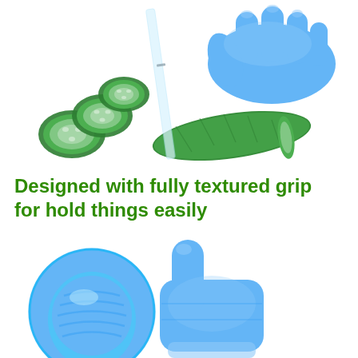[Figure (photo): Blue nitrile gloved hand slicing a cucumber with a transparent mandoline slicer; cucumber slices scattered on white background.]
Designed with fully textured grip for hold things easily
[Figure (photo): Blue nitrile gloved hand giving a thumbs-up gesture, with a circular close-up inset showing the textured grip surface of the fingertips.]